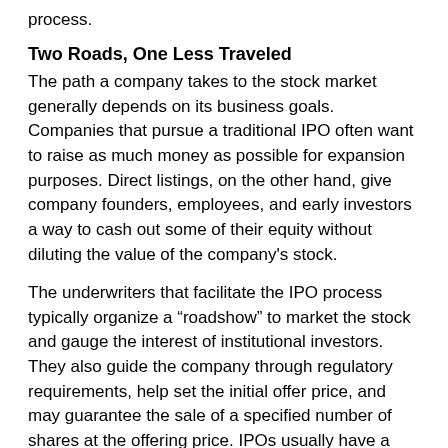process.
Two Roads, One Less Traveled
The path a company takes to the stock market generally depends on its business goals. Companies that pursue a traditional IPO often want to raise as much money as possible for expansion purposes. Direct listings, on the other hand, give company founders, employees, and early investors a way to cash out some of their equity without diluting the value of the company’s stock.
The underwriters that facilitate the IPO process typically organize a “roadshow” to market the stock and gauge the interest of institutional investors. They also guide the company through regulatory requirements, help set the initial offer price, and may guarantee the sale of a specified number of shares at the offering price. IPOs usually have a three- to six-month lockup period, which is an agreement with underwriters that prevents employees and other early investors from immediately selling their shares. Keeping insider shares off the market can help